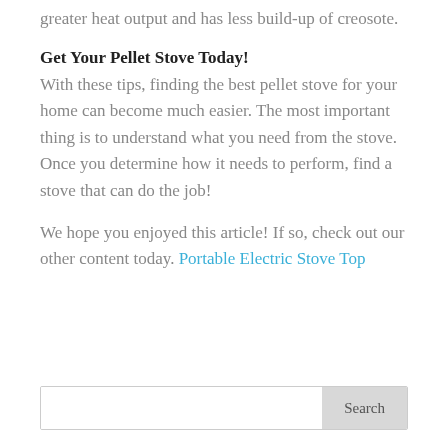greater heat output and has less build-up of creosote.
Get Your Pellet Stove Today!
With these tips, finding the best pellet stove for your home can become much easier. The most important thing is to understand what you need from the stove. Once you determine how it needs to perform, find a stove that can do the job!
We hope you enjoyed this article! If so, check out our other content today. Portable Electric Stove Top